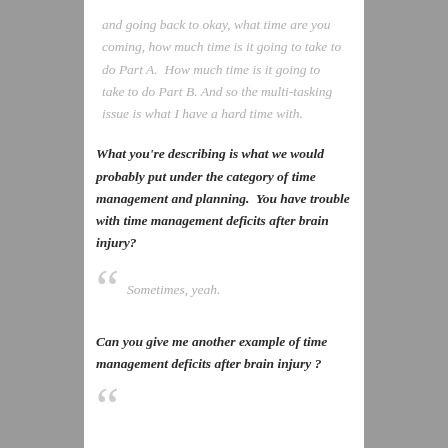and going back to okay, what time are you coming, how much time is it going to take to do Part A.  How much time is it going to take to do Part B. And so the multi-tasking issue is what I have a hard time with.
What you're describing is what we would probably put under the category of time management and planning.  You have trouble with time management deficits after brain injury?
Sometimes, yeah.
Can you give me another example of time management deficits after brain injury ?